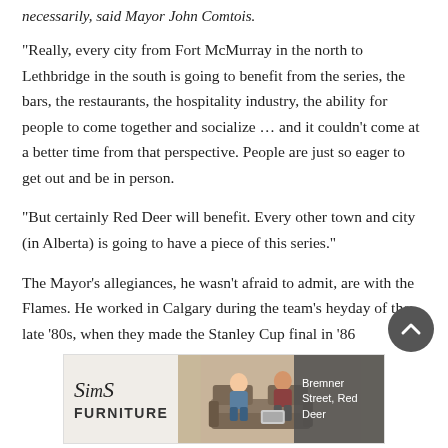necessarily, said Mayor John Comtois.
“Really, every city from Fort McMurray in the north to Lethbridge in the south is going to benefit from the series, the bars, the restaurants, the hospitality industry, the ability for people to come together and socialize … and it couldn’t come at a better time from that perspective. People are just so eager to get out and be in person.
“But certainly Red Deer will benefit. Every other town and city (in Alberta) is going to have a piece of this series.”
The Mayor’s allegiances, he wasn’t afraid to admit, are with the Flames. He worked in Calgary during the team’s heyday of the late ’80s, when they made the Stanley Cup final in ’86
[Figure (illustration): Sims Furniture advertisement banner with logo on left, image of two people on a couch in middle, and address 'Bremner Street, Red Deer' on right]